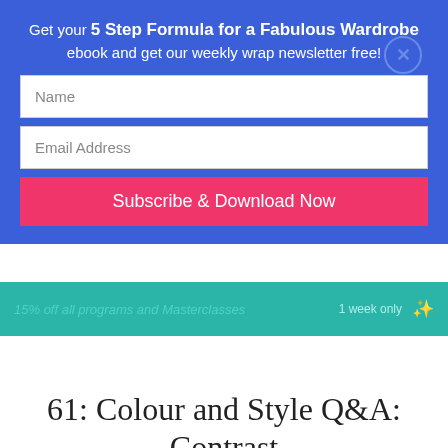Get your 5 Step Formula for a Fabulous Wardrobe ebook and get our weekly wrap newsletter free!
[Figure (screenshot): Email signup popup with Name field, Email Address field, and Subscribe & Download Now button on a blue background with a close button]
15% off all programs and Masterclasses  1 week only
61: Colour and Style Q&A: Contrast for Clear Colouring, Figur... at V...